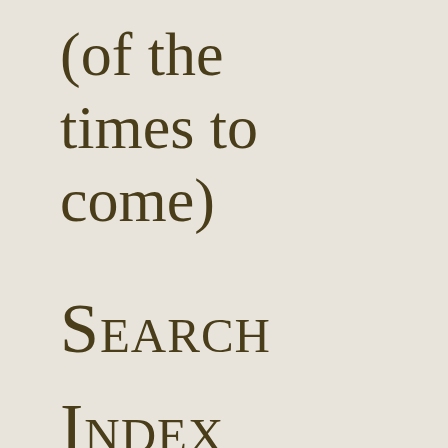(of the times to come)
Search
Index